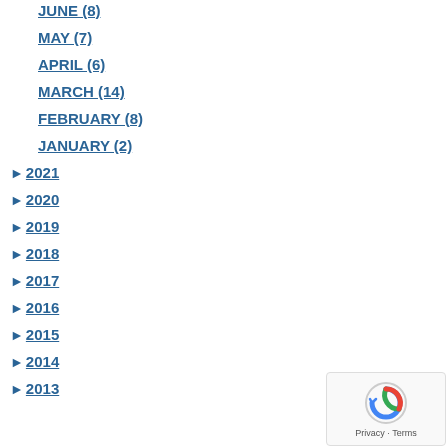JUNE (8)
MAY (7)
APRIL (6)
MARCH (14)
FEBRUARY (8)
JANUARY (2)
► 2021
► 2020
► 2019
► 2018
► 2017
► 2016
► 2015
► 2014
► 2013